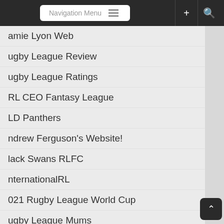[Figure (screenshot): Navigation bar with Navigation Menu button, hamburger icon, plus icon, and search icon on dark background]
amie Lyon Web
ugby League Review
ugby League Ratings
RL CEO Fantasy League
LD Panthers
ndrew Ferguson's Website!
lack Swans RLFC
nternationalRL
021 Rugby League World Cup
ugby League Mums
layer Profiles
024 NRL Draw
vatch NRL Games Online
RL Tipping Experts